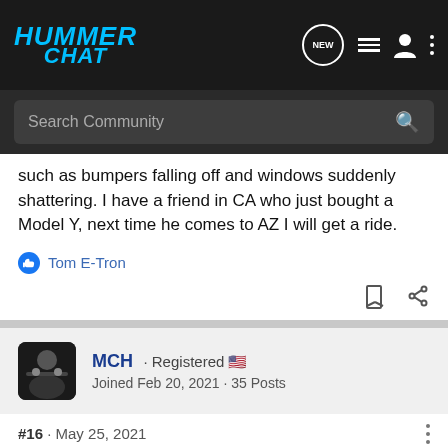HUMMER CHAT
such as bumpers falling off and windows suddenly shattering. I have a friend in CA who just bought a Model Y, next time he comes to AZ I will get a ride.
Tom E-Tron
MCH · Registered 🇺🇸
Joined Feb 20, 2021 · 35 Posts
#16 · May 25, 2021
Still following this forum! But I also just ordered a Mach-E. I figured I can sell it if I decide to move up to a big ass truck. (Or a smaller truck, like the Rivian.) And I really want to see some